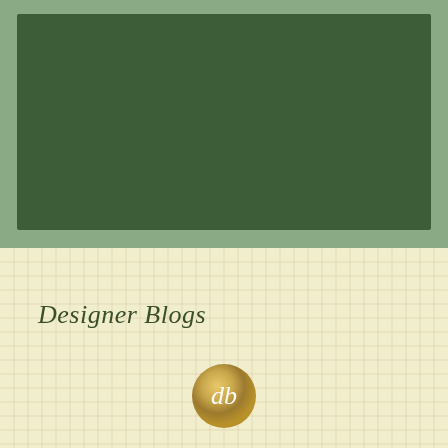[Figure (illustration): Dark olive green rectangular block on a sage green background, occupying the upper portion of the page.]
[Figure (infographic): Grid-paper styled cream/yellow background with fine reddish-brown grid lines, containing italic text 'Designer Blogs' and a gold metallic circular logo with white stylized 'db' monogram.]